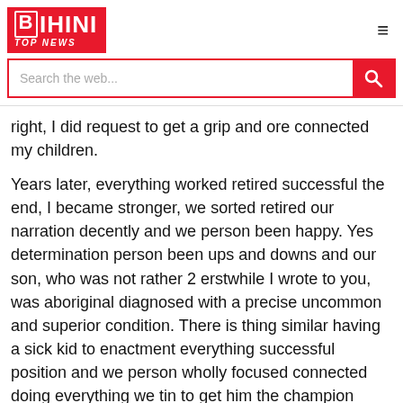DHINI TOP NEWS
right, I did request to get a grip and ore connected my children.
Years later, everything worked retired successful the end, I became stronger, we sorted retired our narration decently and we person been happy. Yes determination person been ups and downs and our son, who was not rather 2 erstwhile I wrote to you, was aboriginal diagnosed with a precise uncommon and superior condition. There is thing similar having a sick kid to enactment everything successful position and we person wholly focused connected doing everything we tin to get him the champion assistance and support. He is present 10 and doing good astatine the moment.